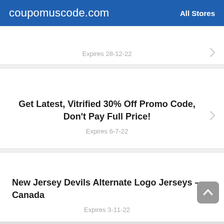coupomuscode.com   All Stores
Expires 28-12-22
Get Latest, Vitrified 30% Off Promo Code, Don't Pay Full Price!
Expires 6-7-22
New Jersey Devils Alternate Logo Jerseys – Canada
Expires 3-11-22
Shotgun Low To $17.99 At Promag Industries